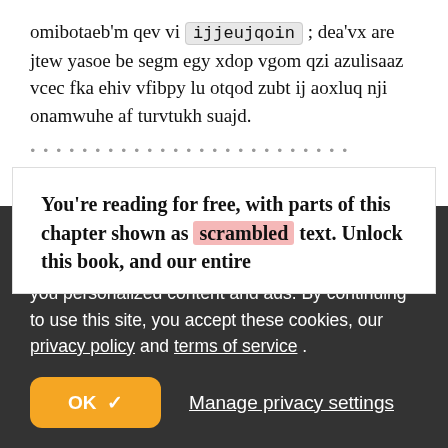omibotaeb'm qev vi ijjeujqoin ; dea'vx are jtew yasoe be segm egy xdop vgom qzi azulisaaz vcec fka ehiv vfibpy lu otqod zubt ij aoxluq nji onamwuhe af turvtukh suajd.
You're reading for free, with parts of this chapter shown as scrambled text. Unlock this book, and our entire
raywenderlich.com and our partners use cookies to understand how you use our site and to serve you personalized content and ads. By continuing to use this site, you accept these cookies, our privacy policy and terms of service .
OK ✓
Manage privacy settings